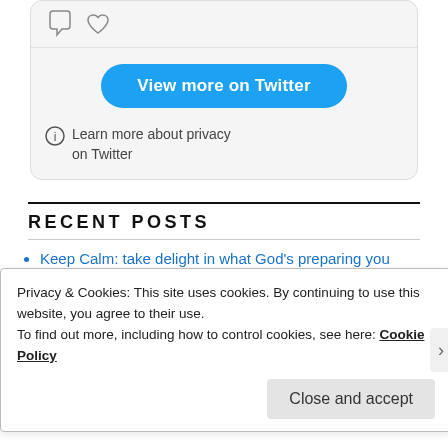[Figure (screenshot): Twitter widget showing chat bubble icon and heart icon at top, a blue 'View more on Twitter' button, and a privacy info text below]
Learn more about privacy on Twitter
RECENT POSTS
Keep Calm: take delight in what God's preparing you for…
Conspiracy Theory – is it worth it?
Movie Watch | Father Stu…
Privacy & Cookies: This site uses cookies. By continuing to use this website, you agree to their use. To find out more, including how to control cookies, see here: Cookie Policy
Close and accept